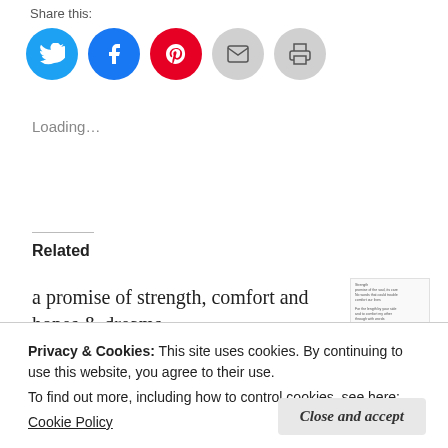Share this:
[Figure (infographic): Five social sharing icon buttons: Twitter (blue), Facebook (blue), Pinterest (red), Email (gray), Print (gray)]
Loading...
Related
a promise of strength, comfort and hopes & dreams
September 2, 2011
In "Uncategorising"
Privacy & Cookies: This site uses cookies. By continuing to use this website, you agree to their use.
To find out more, including how to control cookies, see here:
Cookie Policy
Close and accept